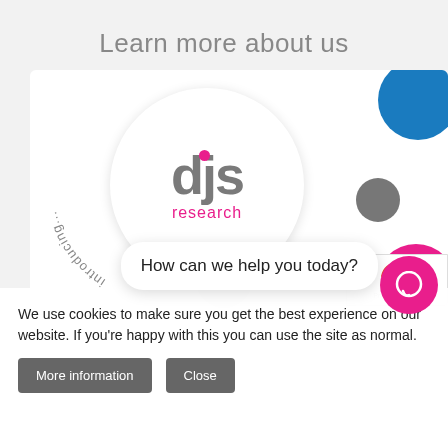Learn more about us
[Figure (logo): DJS Research logo inside a white circle with 'introducing...' text curved around the left side, decorative colored circles (blue, grey, magenta) on the right. A reCAPTCHA badge is visible in the bottom right corner.]
How can we help you today?
We use cookies to make sure you get the best experience on our website. If you're happy with this you can use the site as normal.
More information
Close